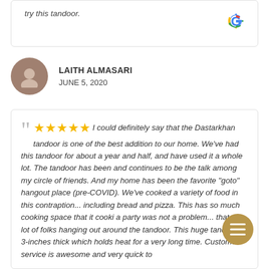try this tandoor.
[Figure (logo): Google logo in top right of review card]
LAITH ALMASARI
JUNE 5, 2020
I could definitely say that the Dastarkhan tandoor is one of the best addition to our home. We've had this tandoor for about a year and half, and have used it a whole lot. The tandoor has been and continues to be the talk among my circle of friends. And my home has been the favorite "goto" hangout place (pre-COVID). We've cooked a variety of food in this contraption... including bread and pizza. This has so much cooking space that it cooki a party was not a problem... that a lot of folks hanging out around the tandoor. This huge tandoor is 3-inches thick which holds heat for a very long time. Customer service is awesome and very quick to